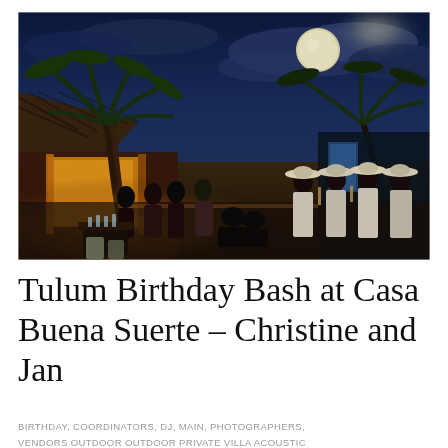[Figure (photo): Night-time outdoor party at a Mexican villa. A mariachi band in white uniforms and sombrero hats stands on the right. Guests mingle and dance on a terrace lit with warm golden lights beneath a thatched palapa roof and tall palm trees. A bright full moon illuminates a dramatic blue-purple sky in the background.]
Tulum Birthday Bash at Casa Buena Suerte – Christine and Jan
BIRTHDAY, COORDINATORS, DJ, MAIN, PHOTOGRAPHERS, VENDORS OUTDOOR OUTDOOR PRIVATE VILLA ACOUSTIC